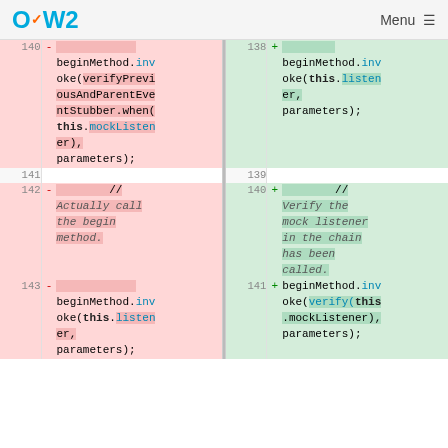OW2 Menu
[Figure (screenshot): Code diff view showing two columns: left (deleted, pink) and right (added, green). Left side lines 140-143+, right side lines 138-141+. Shows a Java code diff where beginMethod.invoke call changes from using verifyPreviousAndParentEventStubber.when(this.mockListener) to using this.listener, and a comment changes from 'Actually call the begin method.' to 'Verify the mock listener in the chain has been called.']